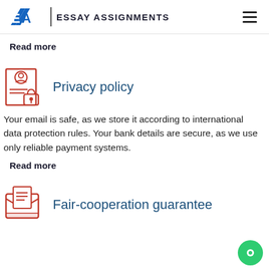EA | ESSAY ASSIGNMENTS
Read more
[Figure (illustration): Icon showing a document with a person silhouette and a padlock, representing privacy policy]
Privacy policy
Your email is safe, as we store it according to international data protection rules. Your bank details are secure, as we use only reliable payment systems.
Read more
[Figure (illustration): Icon showing an open envelope with a document inside, representing fair-cooperation guarantee]
Fair-cooperation guarantee